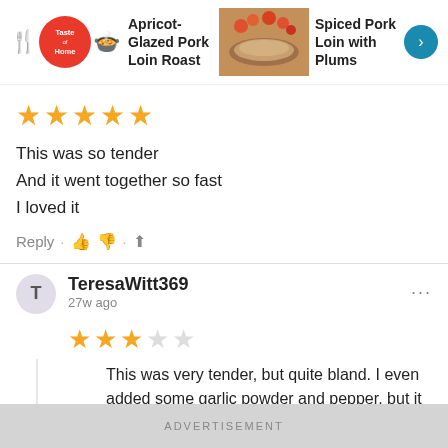[Figure (screenshot): Taste of Home website navigation bar with logo, Apricot-Glazed Pork Loin Roast title, food photo, Spiced Pork Loin with Plums title and next arrow button]
[Figure (other): 5 filled orange stars rating]
This was so tender
And it went together so fast
I loved it
Reply · 👍 👎 · ↑
TeresaWitt369
27w ago
[Figure (other): 3 filled orange stars and 2 empty stars rating]
This was very tender, but quite bland. I even added some garlic powder and pepper, but it still was not very tasty.
ADVERTISEMENT